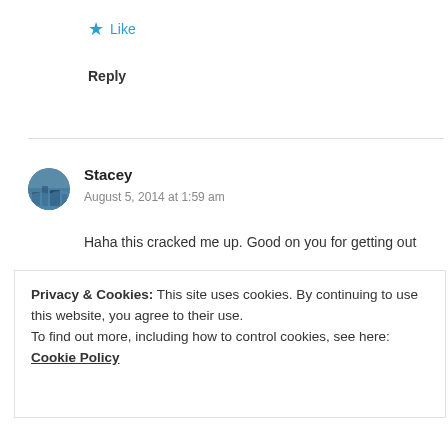★ Like
Reply
Stacey
August 5, 2014 at 1:59 am
Haha this cracked me up. Good on you for getting out
Privacy & Cookies: This site uses cookies. By continuing to use this website, you agree to their use.
To find out more, including how to control cookies, see here: Cookie Policy
Close and accept